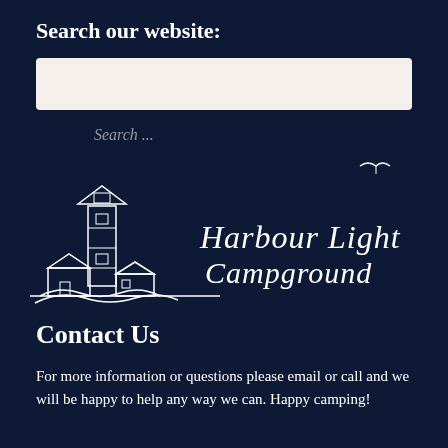Search our website:
[Figure (screenshot): Search input box with placeholder text 'Search ...']
[Figure (logo): Harbour Light Campground logo with lighthouse illustration and cursive text]
Contact Us
For more information or questions please email or call and we will be happy to help any way we can. Happy camping!